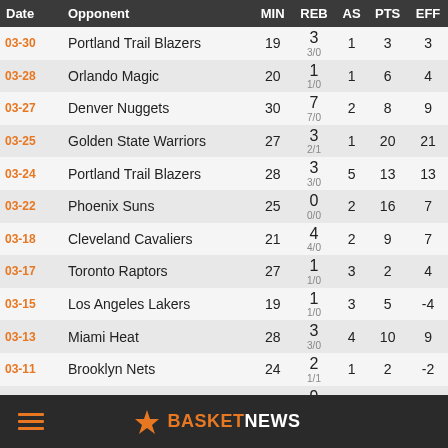| Date | Opponent | MIN | REB | AS | PTS | EFF |
| --- | --- | --- | --- | --- | --- | --- |
| 03-30 | Portland Trail Blazers | 19 | 3
3/0 | 1 | 3 | 3 |
| 03-28 | Orlando Magic | 20 | 1
1/0 | 1 | 6 | 4 |
| 03-27 | Denver Nuggets | 30 | 7
7/0 | 2 | 8 | 9 |
| 03-25 | Golden State Warriors | 27 | 3
2/1 | 1 | 20 | 21 |
| 03-24 | Portland Trail Blazers | 28 | 3
3/0 | 5 | 13 | 13 |
| 03-22 | Phoenix Suns | 25 | 0
0/0 | 2 | 16 | 7 |
| 03-18 | Cleveland Cavaliers | 21 | 4
4/0 | 2 | 9 | 7 |
| 03-17 | Toronto Raptors | 27 | 1
1/0 | 3 | 2 | 4 |
| 03-15 | Los Angeles Lakers | 19 | 1
1/0 | 3 | 5 | -4 |
| 03-13 | Miami Heat | 28 | 3
3/0 | 4 | 10 | 9 |
| 03-11 | Brooklyn Nets | 24 | 2
1/1 | 1 | 2 | -2 |
| 03-10 | Chicago Bulls | 31 | 9
9/0 | 4 | 9 | 10 |
| 03-09 | Chicago Bulls | 27 | 2 | 3 | 14 | 14 |
≡ ★ BASKETNEWS